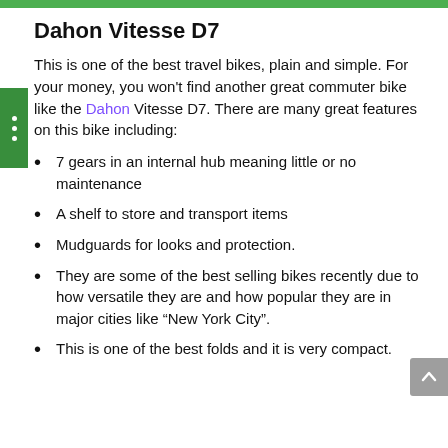Dahon Vitesse D7
This is one of the best travel bikes, plain and simple. For your money, you won't find another great commuter bike like the Dahon Vitesse D7. There are many great features on this bike including:
7 gears in an internal hub meaning little or no maintenance
A shelf to store and transport items
Mudguards for looks and protection.
They are some of the best selling bikes recently due to how versatile they are and how popular they are in major cities like “New York City”.
This is one of the best folds and it is very compact.